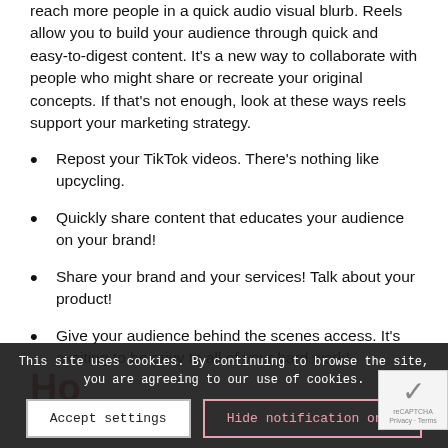reach more people in a quick audio visual blurb. Reels allow you to build your audience through quick and easy-to-digest content. It's a new way to collaborate with people who might share or recreate your original concepts. If that's not enough, look at these ways reels support your marketing strategy.
Repost your TikTok videos. There’s nothing like upcycling.
Quickly share content that educates your audience on your brand!
Share your brand and your services! Talk about your product!
Give your audience behind the scenes access. It’s exciting to be privy to all of your hard work!
Ho...
This site uses cookies. By continuing to browse the site, you are agreeing to our use of cookies.